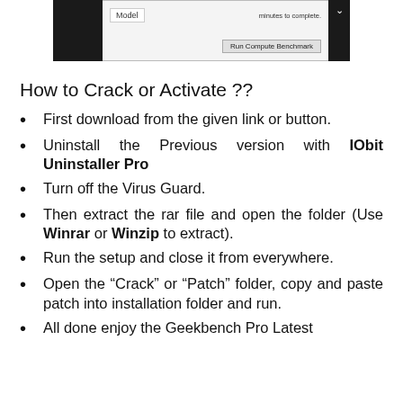[Figure (screenshot): Top portion of a software benchmark application window showing Model label, text about minutes to complete, and a Run Compute Benchmark button, with black panels on left and right sides.]
How to Crack or Activate ??
First download from the given link or button.
Uninstall the Previous version with IObit Uninstaller Pro
Turn off the Virus Guard.
Then extract the rar file and open the folder (Use Winrar or Winzip to extract).
Run the setup and close it from everywhere.
Open the “Crack” or “Patch” folder, copy and paste patch into installation folder and run.
All done enjoy the Geekbench Pro Latest